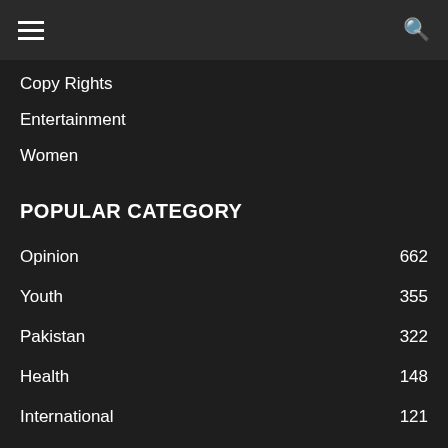☰  🔍
Copy Rights
Entertainment
Women
POPULAR CATEGORY
Opinion  662
Youth  355
Pakistan  322
Health  148
International  121
Letter to Editor  115
Blogs  114